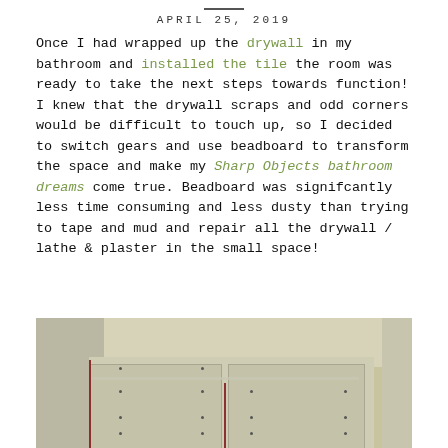APRIL 25, 2019
Once I had wrapped up the drywall in my bathroom and installed the tile the room was ready to take the next steps towards function! I knew that the drywall scraps and odd corners would be difficult to touch up, so I decided to switch gears and use beadboard to transform the space and make my Sharp Objects bathroom dreams come true. Beadboard was signifcantly less time consuming and less dusty than trying to tape and mud and repair all the drywall / lathe & plaster in the small space!
[Figure (photo): Overhead view of a bathroom corner showing beadboard panels installed on the walls with screws visible, tape lines, and exposed drywall edges with red accents at seams.]